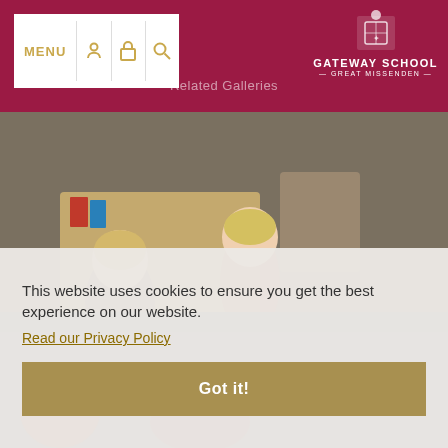MENU | Gateway School Great Missenden
Related Galleries
[Figure (photo): Children in a classroom looking at books and materials on a desk]
This website uses cookies to ensure you get the best experience on our website.
Read our Privacy Policy
Got it!